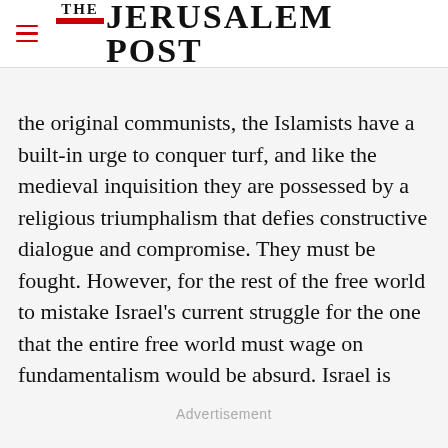THE JERUSALEM POST
the original communists, the Islamists have a built-in urge to conquer turf, and like the medieval inquisition they are possessed by a religious triumphalism that defies constructive dialogue and compromise. They must be fought. However, for the rest of the free world to mistake Israel's current struggle for the one that the entire free world must wage on fundamentalism would be absurd. Israel is
Advertisement